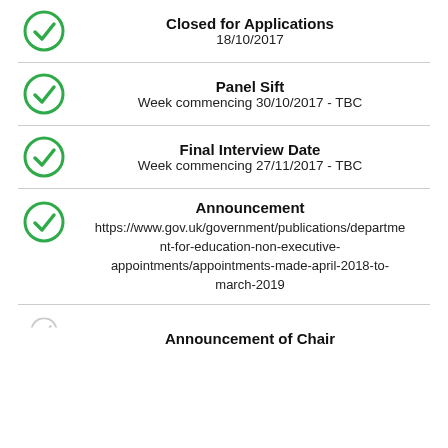Closed for Applications
18/10/2017
Panel Sift
Week commencing 30/10/2017 - TBC
Final Interview Date
Week commencing 27/11/2017 - TBC
Announcement
https://www.gov.uk/government/publications/department-for-education-non-executive-appointments/appointments-made-april-2018-to-march-2019
Announcement of Chair